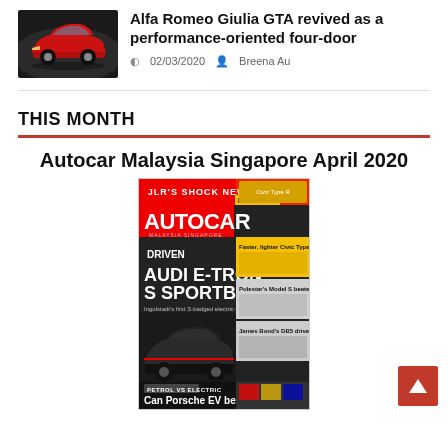[Figure (photo): Red Alfa Romeo Giulia GTA car photo thumbnail]
Alfa Romeo Giulia GTA revived as a performance-oriented four-door
02/03/2020  Breena Au
THIS MONTH
Autocar Malaysia Singapore April 2020
[Figure (photo): Autocar Malaysia Singapore April 2020 magazine cover featuring Audi E-Tron S Sportback driven article, JLR's shock new city car, Faster lighter Civic Type R, Polestar's Model S beater, James Bond's DB5 driven, Can Porsche EV beat AMG V8?]